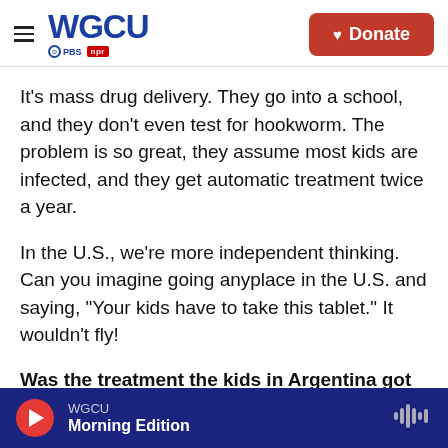WGCU PBS NPR | Donate
It's mass drug delivery. They go into a school, and they don't even test for hookworm. The problem is so great, they assume most kids are infected, and they get automatic treatment twice a year.
In the U.S., we're more independent thinking. Can you imagine going anyplace in the U.S. and saying, "Your kids have to take this tablet." It wouldn't fly!
Was the treatment the kids in Argentina got effective?
Yes, but then they go back home. In three or four
WGCU Morning Edition